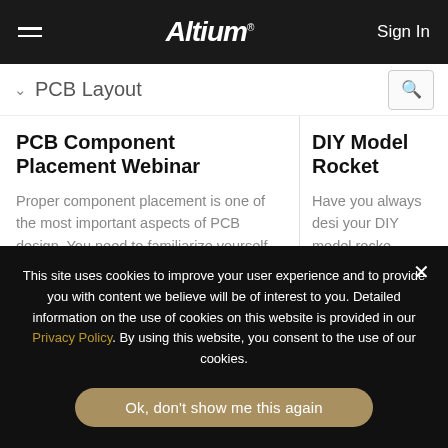Altium — Sign In
PCB Layout
PCB Component Placement Webinar
Proper component placement is one of the most important aspects of PCB design. You need to familiarize yourself with the
Watch Video
DIY Model Rocket
Have you always desi your DIY model rocke printed circuit boards board, at a time beca multi-board system-l design was beyond w
Read Article
This site uses cookies to improve your user experience and to provide you with content we believe will be of interest to you. Detailed information on the use of cookies on this website is provided in our Privacy Policy. By using this website, you consent to the use of our cookies.
Ok, don't show me this again